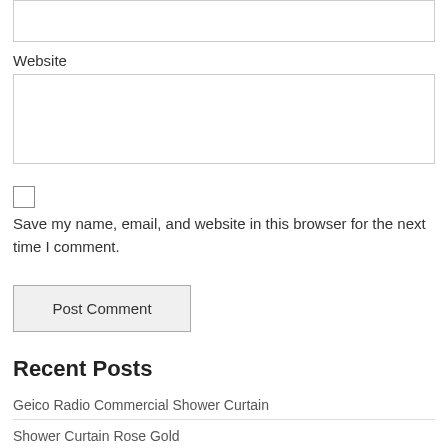[Figure (screenshot): Empty input text box at top of page (partial, cropped)]
Website
[Figure (screenshot): Empty website input text box]
[Figure (screenshot): Checkbox (unchecked)]
Save my name, email, and website in this browser for the next time I comment.
[Figure (screenshot): Post Comment button]
Recent Posts
Geico Radio Commercial Shower Curtain
Shower Curtain Rose Gold